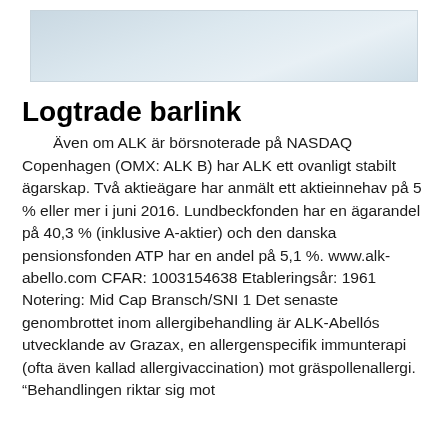[Figure (photo): A light blue-gray photographic image at the top of the page, appears to be a winter or sky scene.]
Logtrade barlink
Även om ALK är börsnoterade på NASDAQ Copenhagen (OMX: ALK B) har ALK ett ovanligt stabilt ägarskap. Två aktieägare har anmält ett aktieinnehav på 5 % eller mer i juni 2016. Lundbeckfonden har en ägarandel på 40,3 % (inklusive A-aktier) och den danska pensionsfonden ATP har en andel på 5,1 %. www.alk-abello.com CFAR: 1003154638 Etableringsår: 1961 Notering: Mid Cap Bransch/SNI 1 Det senaste genombrottet inom allergibehandling är ALK-Abellós utvecklande av Grazax, en allergenspecifik immunterapi (ofta även kallad allergivaccination) mot gräspollenallergi. “Behandlingen riktar sig mot